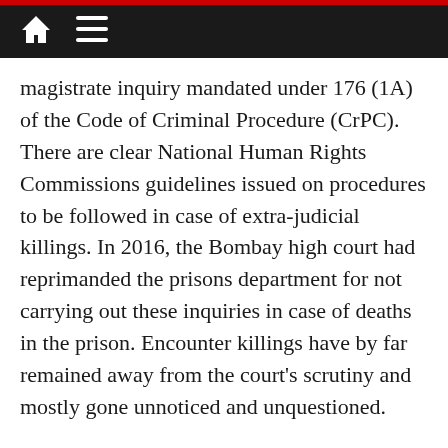[navigation bar with home icon and menu icon]
magistrate inquiry mandated under 176 (1A) of the Code of Criminal Procedure (CrPC). There are clear National Human Rights Commissions guidelines issued on procedures to be followed in case of extra-judicial killings. In 2016, the Bombay high court had reprimanded the prisons department for not carrying out these inquiries in case of deaths in the prison. Encounter killings have by far remained away from the court's scrutiny and mostly gone unnoticed and unquestioned.
The Gadchiroli police, on May 3, had issued a full-page advertisement in a leading English daily with five names and the reward money on each person's head. The advertisement titled, “Give information, earn million”, was issued as a part of the “routine